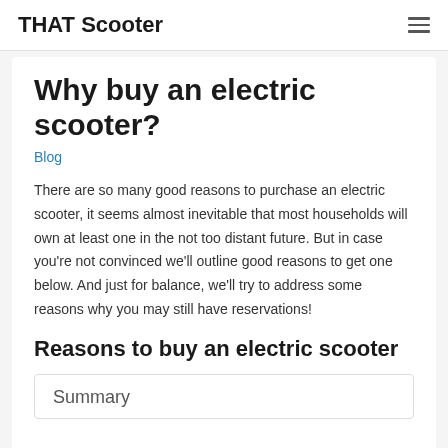THAT Scooter
Why buy an electric scooter?
Blog
There are so many good reasons to purchase an electric scooter, it seems almost inevitable that most households will own at least one in the not too distant future. But in case you're not convinced we'll outline good reasons to get one below. And just for balance, we'll try to address some reasons why you may still have reservations!
Reasons to buy an electric scooter
Summary